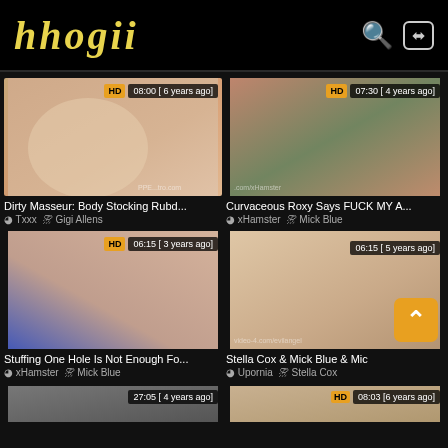hhogii
[Figure (screenshot): Video thumbnail 1: Dirty Masseur: Body Stocking Rubd... HD 08:00 [6 years ago]]
Dirty Masseur: Body Stocking Rubd...
⊙ Txxx  ⚇ Gigi Allens
[Figure (screenshot): Video thumbnail 2: Curvaceous Roxy Says FUCK MY A... HD 07:30 [4 years ago]]
Curvaceous Roxy Says FUCK MY A...
⊙ xHamster  ⚇ Mick Blue
[Figure (screenshot): Video thumbnail 3: Stuffing One Hole Is Not Enough Fo... HD 06:15 [3 years ago]]
Stuffing One Hole Is Not Enough Fo...
⊙ xHamster  ⚇ Mick Blue
[Figure (screenshot): Video thumbnail 4: Stella Cox & Mick Blue & Mic... 06:15 [5 years ago]]
Stella Cox & Mick Blue & Mic...
⊙ Upornia  ⚇ Stella Cox
[Figure (screenshot): Bottom strip thumbnail left: 27:05 [4 years ago]]
[Figure (screenshot): Bottom strip thumbnail right: HD 08:03 [6 years ago]]